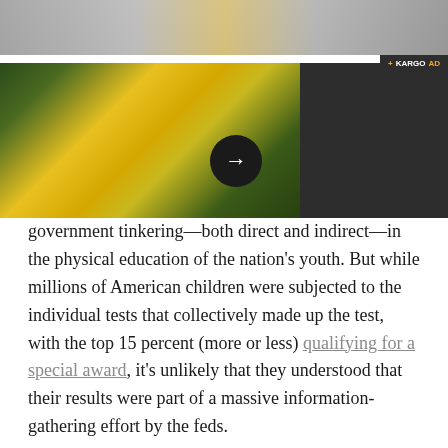[Figure (photo): Advertisement banner with flower/nature photo strip on left and dark panel on right, Kargo ad label, and navigation arrow button]
government tinkering—both direct and indirect—in the physical education of the nation's youth. But while millions of American children were subjected to the individual tests that collectively made up the test, with the top 15 percent (more or less) qualifying for a special award, it's unlikely that they understood that their results were part of a massive information-gathering effort by the feds.
What? The government was